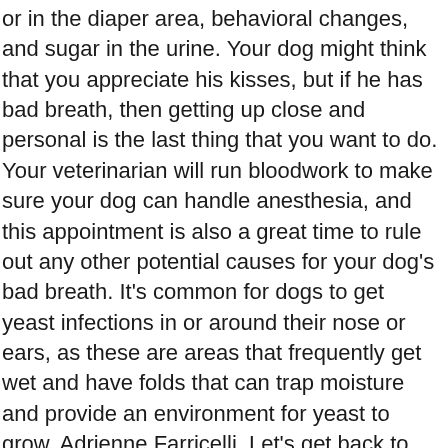or in the diaper area, behavioral changes, and sugar in the urine. Your dog might think that you appreciate his kisses, but if he has bad breath, then getting up close and personal is the last thing that you want to do. Your veterinarian will run bloodwork to make sure your dog can handle anesthesia, and this appointment is also a great time to rule out any other potential causes for your dog's bad breath. It's common for dogs to get yeast infections in or around their nose or ears, as these are areas that frequently get wet and have folds that can trap moisture and provide an environment for yeast to grow. Adrienne Farricelli. Let's get back to that “wet dog” thing... It's for real! Despite the fact that you wash and brush your dog regularly, microorganisms like yeast and bacteria live in your dog's fur. Foetor hepaticus is a condition that causes your breath to smell sweet or musty. Bad breath is often one of the first signs that something is amiss with your dog's health, so if you notice that Mitten's burps have become unpleasant enough to wilt roses, it wouldn't be a bad idea to consult with her